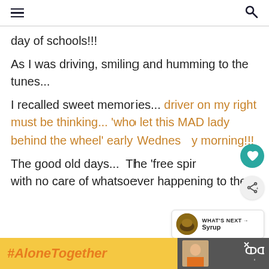[hamburger menu icon] [search icon]
day of schools!!!
As I was driving, smiling and humming to the tunes...
I recalled sweet memories...  driver on my right must be thinking... 'who let this MAD lady behind the wheel' early Wednesday morning!!!
The good old days...  The 'free spir with no care of whatsoever happening to the wo
[Figure (other): What's next panel with circular food photo and text 'WHAT'S NEXT → Syrup']
[Figure (other): Advertisement banner with yellow background showing '#AloneTogether' in orange italic text, and a dark grey section with a woman photo and Tidal logo]